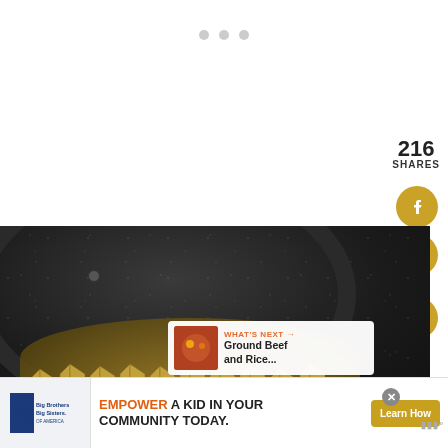[Figure (screenshot): Web page screenshot showing a recipe article with social share buttons (216 shares), a food photo of pasta in a dark non-stick pan, a 'What's Next' card for Ground Beef and Rice, and an advertisement banner for Big Brothers Big Sisters with text 'EMPOWER A KID IN YOUR COMMUNITY TODAY.' and a 'Learn How' button]
216
SHARES
220
WHAT'S NEXT → Ground Beef and Rice...
EMPOWER A KID IN YOUR COMMUNITY TODAY.
Learn How